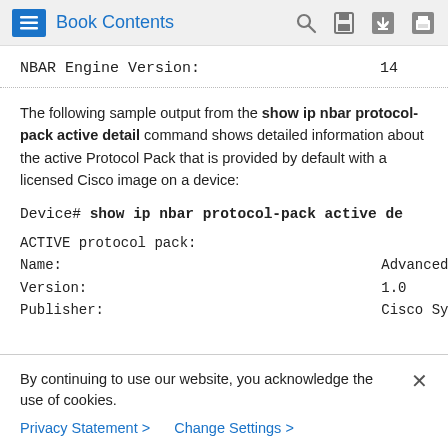Book Contents
NBAR Engine Version:                    14
The following sample output from the show ip nbar protocol-pack active detail command shows detailed information about the active Protocol Pack that is provided by default with a licensed Cisco image on a device:
Device# show ip nbar protocol-pack active de
ACTIVE protocol pack:
Name:                                         Advanced Pr
Version:                                      1.0
Publisher:                                    Cisco Syste
By continuing to use our website, you acknowledge the use of cookies.
Privacy Statement >    Change Settings >